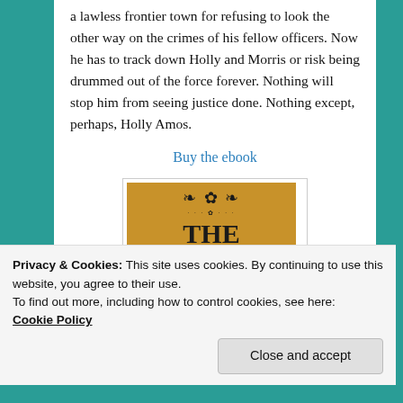a lawless frontier town for refusing to look the other way on the crimes of his fellow officers. Now he has to track down Holly and Morris or risk being drummed out of the force forever. Nothing will stop him from seeing justice done. Nothing except, perhaps, Holly Amos.
Buy the ebook
[Figure (illustration): Book cover with tan/gold background showing ornamental decoration at top, small decorative text, and large bold title text reading 'THE ADVENTURES']
Privacy & Cookies: This site uses cookies. By continuing to use this website, you agree to their use.
To find out more, including how to control cookies, see here: Cookie Policy
Close and accept